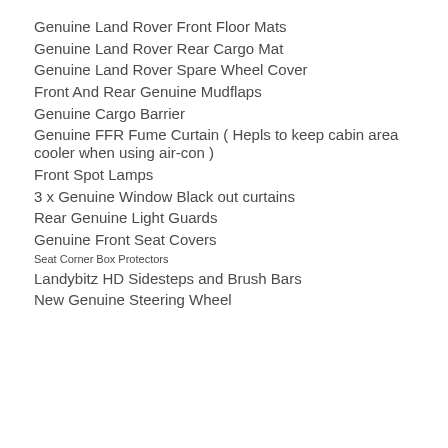Genuine Land Rover Front Floor Mats
Genuine Land Rover Rear Cargo Mat
Genuine Land Rover Spare Wheel Cover
Front And Rear Genuine Mudflaps
Genuine Cargo Barrier
Genuine FFR Fume Curtain ( Hepls to keep cabin area cooler when using air-con )
Front Spot Lamps
3 x Genuine Window Black out curtains
Rear Genuine Light Guards
Genuine Front Seat Covers
Seat Corner Box Protectors
Landybitz HD Sidesteps and Brush Bars
New Genuine Steering Wheel